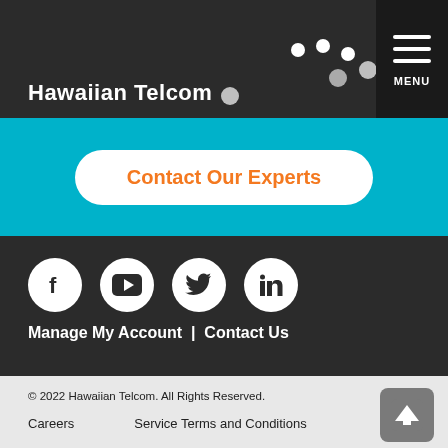Hawaiian Telcom — MENU
[Figure (logo): Hawaiian Telcom logo with dots and company name in white on dark background]
Contact Our Experts
[Figure (infographic): Social media icons: Facebook, YouTube, Twitter, LinkedIn in white circles on dark background]
Manage My Account | Contact Us
© 2022 Hawaiian Telcom. All Rights Reserved.
Careers
Service Terms and Conditions
Investor Relations
Tariffs
Privacy Policy
Site Map
Broadband Policy
Environmental Policy